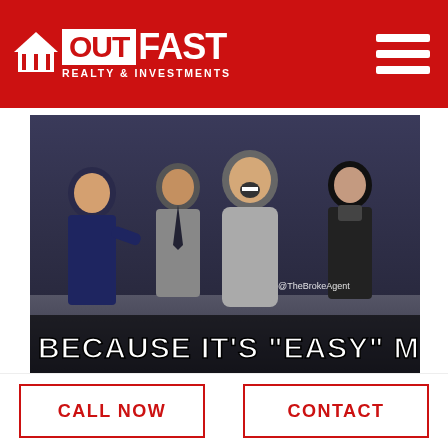OUTFAST REALTY & INVESTMENTS
[Figure (photo): Meme image showing laughing people (Dr. Evil and associates from Austin Powers) with caption 'BECAUSE IT'S "EASY" MONEY' and watermark '@TheBrokeAgent']
CALL NOW
CONTACT